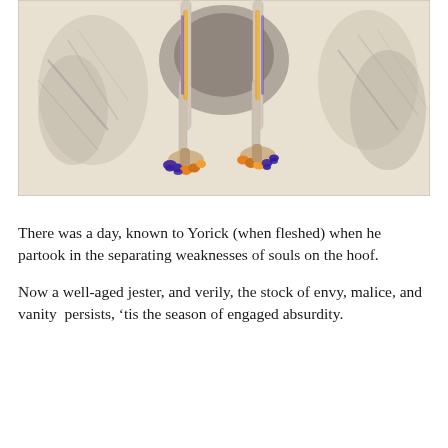[Figure (illustration): An artwork showing skeletal/anatomical legs with colorful highlights (purple, orange, yellow) at the feet, set against a sketched background of rocky or draped forms drawn in pencil.]
There was a day, known to Yorick (when fleshed) when he partook in the separating weaknesses of souls on the hoof.
Now a well-aged jester, and verily, the stock of envy, malice, and vanity  persists, 'tis the season of engaged absurdity.